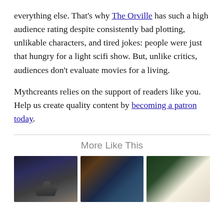everything else. That's why The Orville has such a high audience rating despite consistently bad plotting, unlikable characters, and tired jokes: people were just that hungry for a light scifi show. But, unlike critics, audiences don't evaluate movies for a living.
Mythcreants relies on the support of readers like you. Help us create quality content by becoming a patron today.
More Like This
[Figure (photo): Sci-fi scene with two silhouetted figures and a planet in a dark sky]
[Figure (photo): Two Star Trek-style characters in blue and yellow uniforms]
[Figure (photo): A fantasy miniature figurine next to a pencil and dice on a notebook]